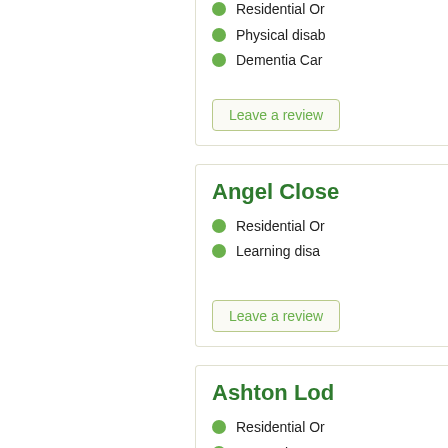Residential Or
Physical disab
Dementia Car
Leave a review
Angel Close
Residential Or
Learning disa
Leave a review
Ashton Lod
Residential Or
Dementia Car